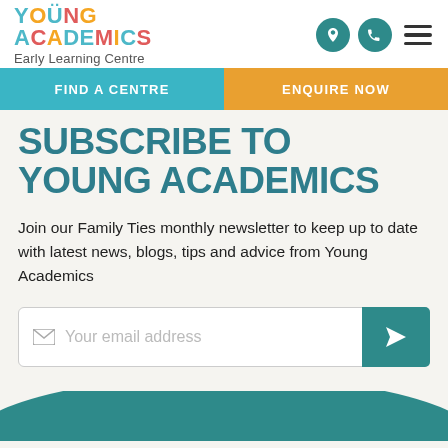[Figure (logo): Young Academics Early Learning Centre logo with colourful lettering]
FIND A CENTRE   ENQUIRE NOW
SUBSCRIBE TO YOUNG ACADEMICS
Join our Family Ties monthly newsletter to keep up to date with latest news, blogs, tips and advice from Young Academics
Your email address